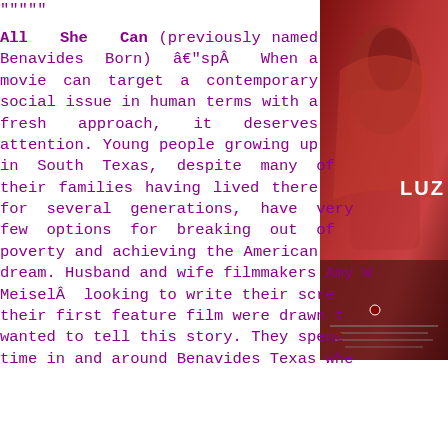""""
All She Can (previously named Benavides Born) âspÂ When a movie can target a contemporary social issue in human terms with a fresh approach, it deserves attention. Young people growing up in South Texas, despite many of their families having lived there for several generations, have very few options for breaking out of poverty and achieving the American dream. Husband and wife filmmakers Amy W MeiselÂ looking to write their scre their first feature film were drawn t wanted to tell this story. They spent time in and around Benavides Texas whe
[Figure (photo): Movie poster for a film featuring 'LUZ', showing two figures in red, with text at the bottom]